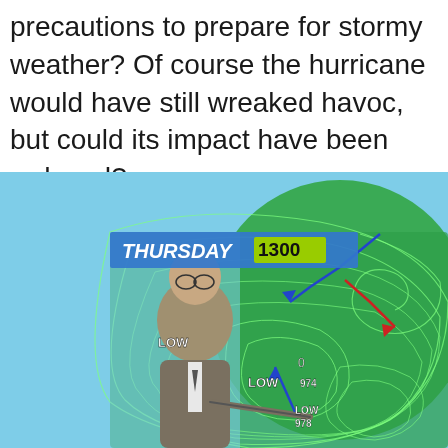precautions to prepare for stormy weather? Of course the hurricane would have still wreaked havoc, but could its impact have been reduced?
[Figure (photo): A weather forecaster standing in front of a weather map showing isobars and low pressure systems labeled LOW and LOW 974 and LOW 978, with the banner 'THURSDAY 1300' at the top left. The map shows the UK and surrounding Atlantic area with green contour lines on a blue-green background.]